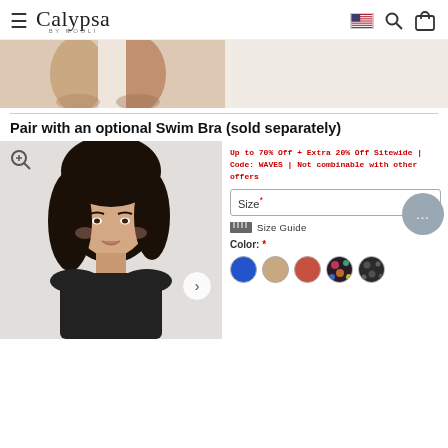Calypsa BY MOOLI
[Figure (photo): Close-up photo of person's legs/lower body in swimwear, cropped]
Pair with an optional Swim Bra (sold separately)
[Figure (photo): Model wearing black swim bra, dark hair, smiling, shown from shoulders up with navigation arrow overlay]
Up to 70% Off + Extra 20% Off Sitewide | Code: WAVES | Not combinable with other offers
Size*
Size Guide
Color: *